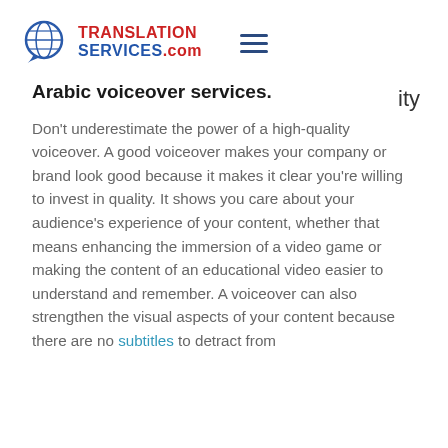TRANSLATION SERVICES.com
ity
Arabic voiceover services.
Don't underestimate the power of a high-quality voiceover. A good voiceover makes your company or brand look good because it makes it clear you're willing to invest in quality. It shows you care about your audience's experience of your content, whether that means enhancing the immersion of a video game or making the content of an educational video easier to understand and remember. A voiceover can also strengthen the visual aspects of your content because there are no subtitles to detract from